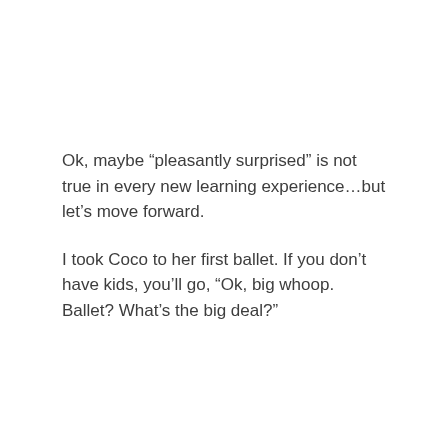Ok, maybe “pleasantly surprised” is not true in every new learning experience…but let’s move forward.
I took Coco to her first ballet. If you don’t have kids, you’ll go, “Ok, big whoop. Ballet? What’s the big deal?”